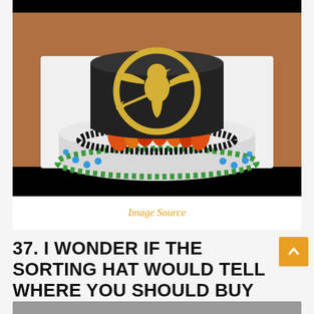[Figure (photo): A Hunger Games themed two-tier cake. The top tier is black fondant with a gold mockingjay symbol. The bottom tier is white/gray with colorful flame decorations in orange and red, black sugar beads, green icing swirls, and blue candy dots.]
Image Source
37. I WONDER IF THE SORTING HAT WOULD TELL WHERE YOU SHOULD BUY YOUR FIRST HOUSE?
[Figure (photo): Partially visible image at bottom of page (next article)]